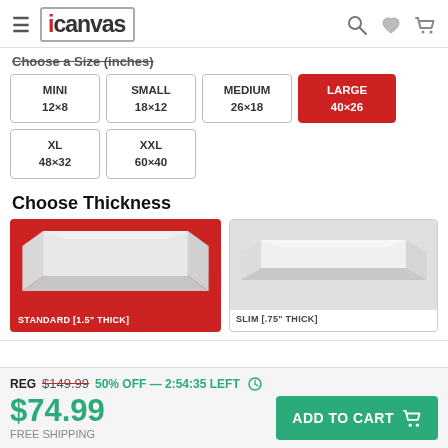iCanvas
Choose a Size (inches)
MINI 12×8
SMALL 18×12
MEDIUM 26×18
LARGE 40×26 (selected)
XL 48×32
XXL 60×40
Choose Thickness
[Figure (illustration): Standard canvas thickness option selected, showing thick white canvas corner on red background, labeled STANDARD [1.5" THICK]]
[Figure (illustration): Slim canvas thickness option, showing thinner white canvas corner on light background, labeled SLIM [.75" THICK]]
REG $149.99  50% OFF — 2:54:35 LEFT
$74.99  FREE SHIPPING  ADD TO CART